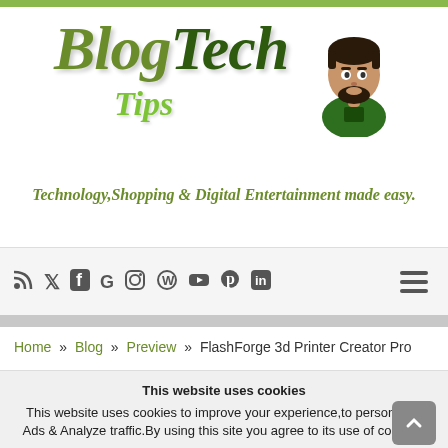[Figure (logo): BlogTech Tips logo with cartoon avatar character and italic styled text in green tones]
Technology,Shopping & Digital Entertainment made easy.
[Figure (infographic): Navigation bar with social media icons: RSS, Twitter, Facebook, Google, Instagram, WordPress, YouTube, Pinterest, LinkedIn, and a hamburger menu icon]
Home » Blog » Preview » FlashForge 3d Printer Creator Pro
This website uses cookies
This website uses cookies to improve your experience,to personalize Ads & Analyze traffic.By using this site you agree to its use of cookies.
GOT IT
Reject
Read More